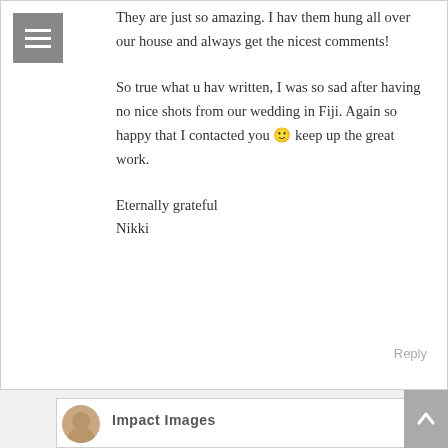They are just so amazing. I hav them hung all over our house and always get the nicest comments!
So true what u hav written, I was so sad after having no nice shots from our wedding in Fiji. Again so happy that I contacted you 🙂 keep up the great work.
Eternally grateful
Nikki
Reply
Impact Images